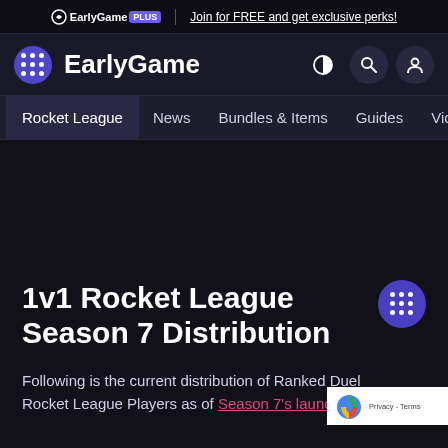EarlyGame PLUS | Join for FREE and get exclusive perks!
EarlyGame
Rocket League | News | Bundles & Items | Guides | Videos
1v1 Rocket League Season 7 Distribution
Following is the current distribution of Ranked Duel Rocket League Players as of Season 7's launch o…